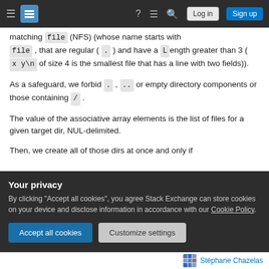Stack Exchange navigation bar with hamburger menu, logo, help, chat, search, Log in, Sign up buttons
matching file (NFS) (whose name starts with file, that are regular (.) and have a Length greater than 3 (x y\n of size 4 is the smallest file that has a line with two fields)).
As a safeguard, we forbid ., .. or empty directory components or those containing /.
The value of the associative array elements is the list of files for a given target dir, NUL-delimited.
Then, we create all of those dirs at once and only if ...
[Figure (screenshot): Privacy cookie consent banner with dark background, title 'Your privacy', body text about accepting cookies for Stack Exchange, and two buttons: 'Accept all cookies' and 'Customize settings']
Stéphane Chazelas